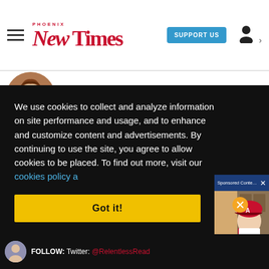Phoenix New Times | SUPPORT US
[Figure (photo): Circular author avatar photo showing a woman with brown hair]
We use cookies to collect and analyze information on site performance and usage, and to enhance and customize content and advertisements. By continuing to use the site, you agree to allow cookies to be placed. To find out more, visit our cookies policy a…
[Figure (screenshot): Sponsored Content video popup showing Torey Lovullo in Arizona Diamondbacks cap with mute button overlay. Header reads: Sponsored Content - Torey Lovullo on R...]
Got it!
FOLLOW: Twitter: @RelentlessRead